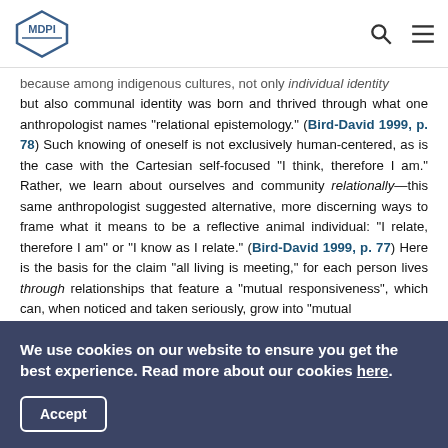MDPI logo with search and menu icons
because among indigenous cultures, not only individual identity but also communal identity was born and thrived through what one anthropologist names “relational epistemology.” (Bird-David 1999, p. 78) Such knowing of oneself is not exclusively human-centered, as is the case with the Cartesian self-focused “I think, therefore I am.” Rather, we learn about ourselves and community relationally—this same anthropologist suggested alternative, more discerning ways to frame what it means to be a reflective animal individual: “I relate, therefore I am” or “I know as I relate.” (Bird-David 1999, p. 77) Here is the basis for the claim “all living is meeting,” for each person lives through relationships that feature a “mutual responsiveness”, which can, when noticed and taken seriously, grow into “mutual
We use cookies on our website to ensure you get the best experience. Read more about our cookies here.
Accept